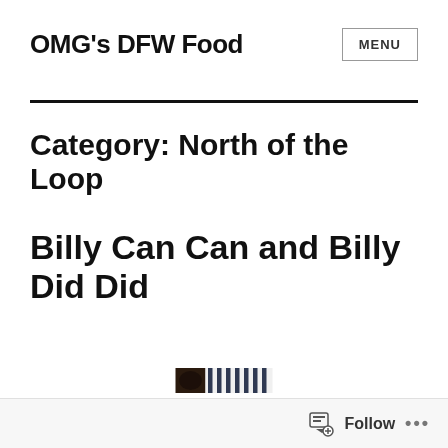OMG's DFW Food
Category: North of the Loop
Billy Can Can and Billy Did Did
[Figure (photo): A photo showing food or restaurant scene, partially visible with dark and striped elements]
Follow ...